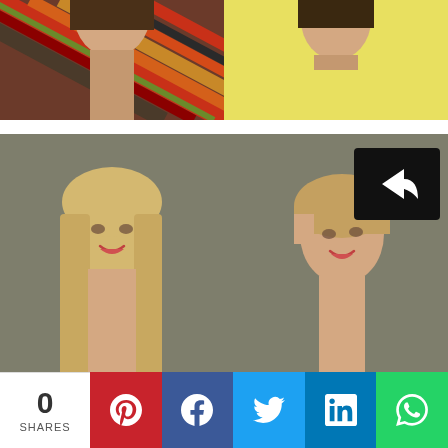[Figure (photo): Two side-by-side photos at top: left shows a woman in a colorful striped shirt, right shows a woman in a yellow top]
[Figure (photo): Before and after hair transformation: left photo shows woman with long blonde hair wearing a black and white striped dress with white belt; right photo shows same woman with short cropped hair wearing same striped top. A share icon is overlaid on the top right. Below are partial photos of other people. A share bar at the bottom shows 0 shares and social media buttons for Pinterest, Facebook, Twitter, LinkedIn, and WhatsApp.]